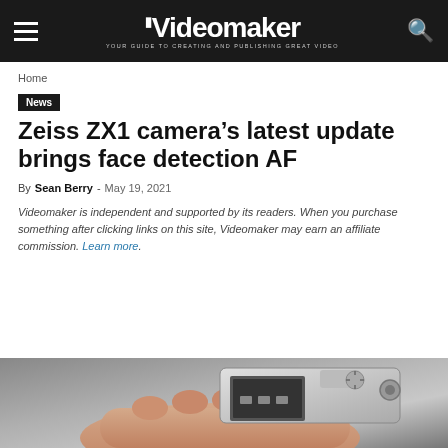Videomaker — YOUR GUIDE TO CREATING AND PUBLISHING GREAT VIDEO
Home
News
Zeiss ZX1 camera's latest update brings face detection AF
By Sean Berry - May 19, 2021
Videomaker is independent and supported by its readers. When you purchase something after clicking links on this site, Videomaker may earn an affiliate commission. Learn more.
[Figure (photo): Close-up photo of a hand holding a Zeiss ZX1 camera, showing the top controls and dials]